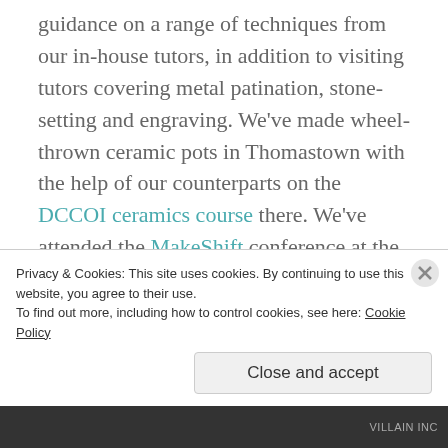guidance on a range of techniques from our in-house tutors, in addition to visiting tutors covering metal patination, stone-setting and engraving. We've made wheel-thrown ceramic pots in Thomastown with the help of our counterparts on the DCCOI ceramics course there. We've attended the MakeShift conference at the Helix and the Gifted Contemporary Craft and Design Fair in the RDS, Dublin. We're learning a lot from each other too, gaining knowledge from our varied backgrounds. And we're having loads of fun alongside all the hard
Privacy & Cookies: This site uses cookies. By continuing to use this website, you agree to their use. To find out more, including how to control cookies, see here: Cookie Policy
Close and accept